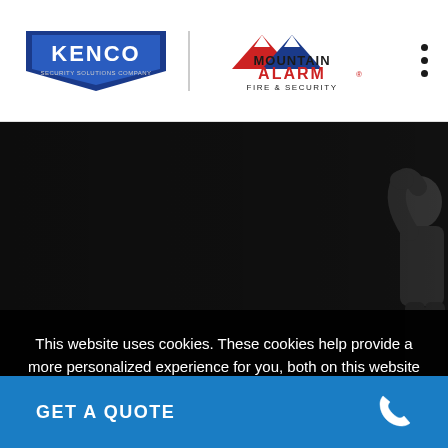[Figure (logo): Kenco Security logo and Mountain Alarm Fire & Security logo side by side in header, with vertical divider between them]
[Figure (photo): Dark background hero image with a person silhouette/figure visible on the right side]
This website uses cookies. These cookies help provide a more personalized experience for you, both on this website and through other media. To find out more, see our privacy policy.
✓ Accept
GET A QUOTE